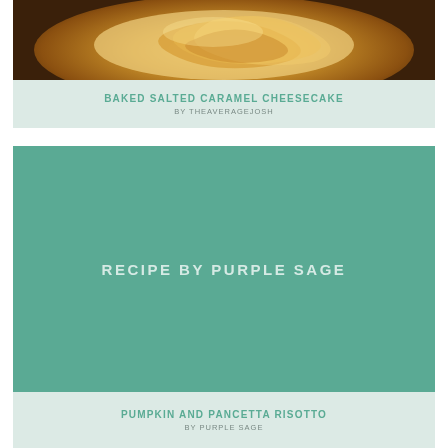[Figure (photo): Close-up photo of baked salted caramel cheesecake with golden caramel swirls on top, in a dark pan]
BAKED SALTED CARAMEL CHEESECAKE
BY THEAVERAGEJOSH
[Figure (photo): Teal/sage green placeholder image with text 'RECIPE BY PURPLE SAGE']
PUMPKIN AND PANCETTA RISOTTO
BY PURPLE SAGE